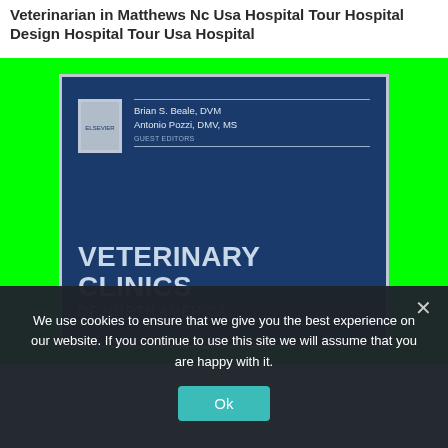Veterinarian in Matthews Nc Usa Hospital Tour Hospital Design Hospital Tour Usa Hospital
[Figure (photo): Book cover for Veterinary Clinics of North America, guest edited by Brian S. Beale, DVM and Antonio Pozzi, DMV, MS. Dark blue cover with Elsevier logo, shown against a bright green background.]
We use cookies to ensure that we give you the best experience on our website. If you continue to use this site we will assume that you are happy with it.